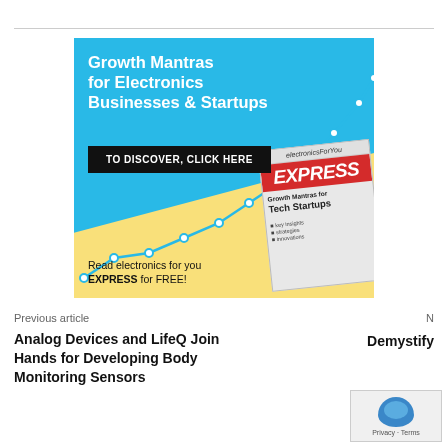[Figure (infographic): Advertisement banner for Electronics For You EXPRESS magazine. Cyan/blue background with text 'Growth Mantras for Electronics Businesses & Startups', black button 'TO DISCOVER, CLICK HERE', line chart graphic, magazine cover image, and text 'Read electronics for you EXPRESS for FREE!']
Previous article
Analog Devices and LifeQ Join Hands for Developing Body Monitoring Sensors
N
Demystify